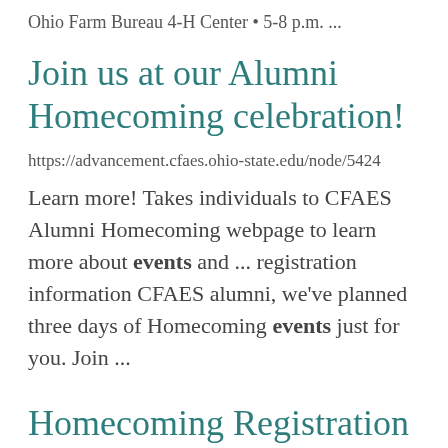Ohio Farm Bureau 4-H Center • 5-8 p.m. ...
Join us at our Alumni Homecoming celebration!
https://advancement.cfaes.ohio-state.edu/node/5424
Learn more! Takes individuals to CFAES Alumni Homecoming webpage to learn more about events and ... registration information CFAES alumni, we've planned three days of Homecoming events just for you. Join ...
Homecoming Registration Open
https://advancement.cfaes.ohio-